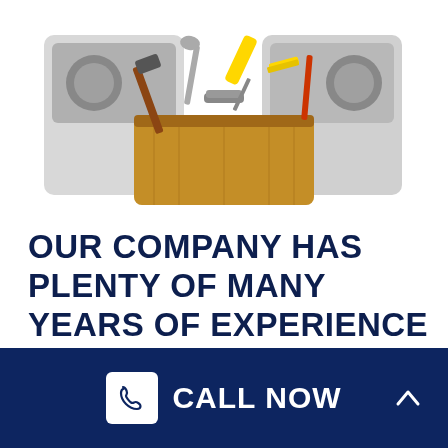[Figure (photo): A wooden toolbox filled with tools (hammer, wrench, screwdrivers, measuring tape) in front of home appliances (washer/dryer) on a white background]
OUR COMPANY HAS PLENTY OF MANY YEARS OF EXPERIENCE OFFERING DISHWASHER REPAIR TO BUSINESSES AND HOMES IN THE MESA
CALL NOW